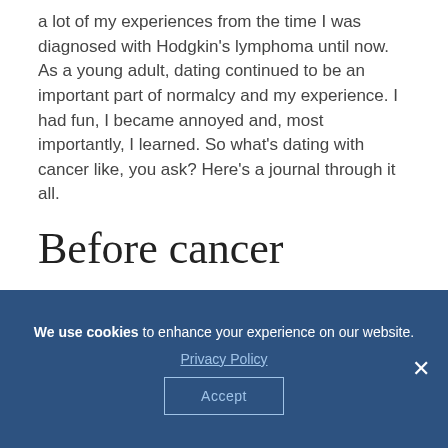a lot of my experiences from the time I was diagnosed with Hodgkin's lymphoma until now. As a young adult, dating continued to be an important part of normalcy and my experience. I had fun, I became annoyed and, most importantly, I learned. So what's dating with cancer like, you ask? Here's a journal through it all.
Before cancer
We use cookies to enhance your experience on our website. Privacy Policy Accept